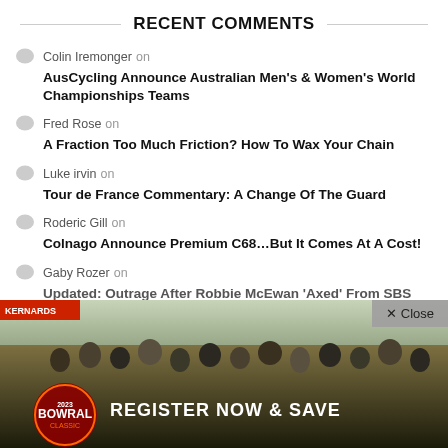RECENT COMMENTS
Colin Iremonger on AusCycling Announce Australian Men's & Women's World Championships Teams
Fred Rose on A Fraction Too Much Friction? How To Wax Your Chain
Luke irvin on Tour de France Commentary: A Change Of The Guard
Roderic Gill on Colnago Announce Premium C68...But It Comes At A Cost!
Gaby Rozer on Updated: Outrage After Robbie McEwan 'Axed' From SBS
[Figure (photo): Bowral Classic 2023 cycling event advertisement banner showing a crowd of cyclists at start line with text 'REGISTER NOW & SAVE' and Bowral Classic logo]